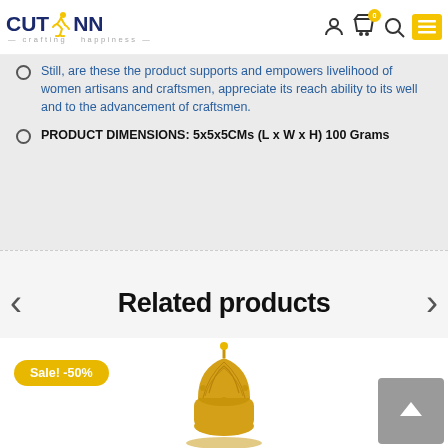CutRunn — crafting happiness
Still, are these the product supports and empowers livelihood of women artisans and craftsmen, appreciate its reach ability to its well and to the advancement of craftsmen.
PRODUCT DIMENSIONS: 5x5x5CMs (L x W x H) 100 Grams
Related products
Sale! -50%